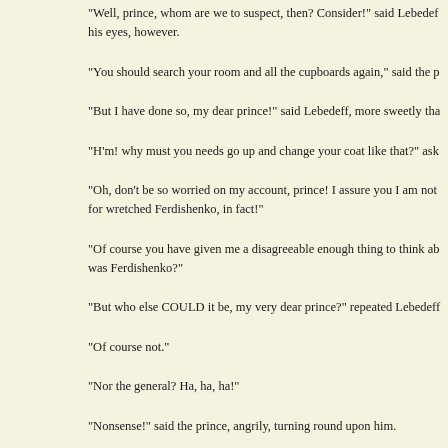"Well, prince, whom are we to suspect, then? Consider!" said Lebedeff his eyes, however.
"You should search your room and all the cupboards again," said the p
"But I have done so, my dear prince!" said Lebedeff, more sweetly tha
"H'm! why must you needs go up and change your coat like that?" ask
"Oh, don't be so worried on my account, prince! I assure you I am not for wretched Ferdishenko, in fact!"
"Of course you have given me a disagreeable enough thing to think ab was Ferdishenko?"
"But who else COULD it be, my very dear prince?" repeated Lebedeff
"Of course not."
"Nor the general? Ha, ha, ha!"
"Nonsense!" said the prince, angrily, turning round upon him.
"Quite so, nonsense! Ha, ha, ha! dear me! He did amuse me, did the ge observe that the general was even more thunderstruck than I myself th changed—he grew red and then pale, and at length flew into a paroxys hearted man! He tells lies by the thousands, I know, but it is merely a v who carries the conviction of innocence in his very appearance. I lo